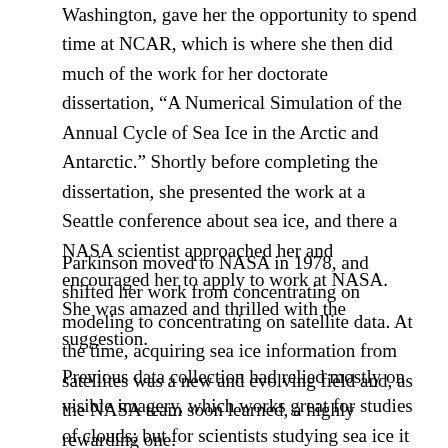Washington, gave her the opportunity to spend time at NCAR, which is where she then did much of the work for her doctorate dissertation, “A Numerical Simulation of the Annual Cycle of Sea Ice in the Arctic and Antarctic.” Shortly before completing the dissertation, she presented the work at a Seattle conference about sea ice, and there a NASA scientist approached her and encouraged her to apply to work at NASA. She was amazed and thrilled with the suggestion.
Parkinson moved to NASA in 1978, and shifted her work from concentrating on modeling to concentrating on satellite data. At the time, acquiring sea ice information from satellites was a new and evolving field and, as the NASA team soon learned, a highly rewarding one.
Previous data collection had relied mostly on visible imagery, which works great for studies of clouds; but for scientists studying sea ice it works well only for images taken during cloudless daylight hours. Parkinson and her team instead used